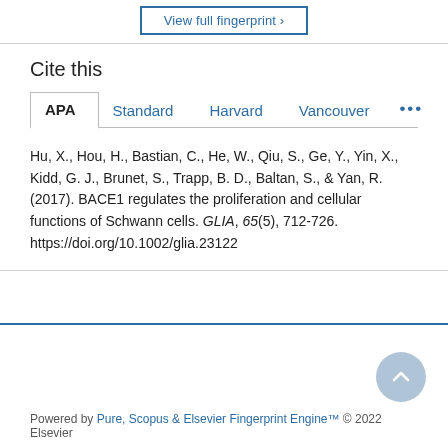[Figure (other): Button labeled 'View full fingerprint' with blue border]
Cite this
APA  Standard  Harvard  Vancouver  ...
Hu, X., Hou, H., Bastian, C., He, W., Qiu, S., Ge, Y., Yin, X., Kidd, G. J., Brunet, S., Trapp, B. D., Baltan, S., & Yan, R. (2017). BACE1 regulates the proliferation and cellular functions of Schwann cells. GLIA, 65(5), 712-726. https://doi.org/10.1002/glia.23122
Powered by Pure, Scopus & Elsevier Fingerprint Engine™ © 2022 Elsevier